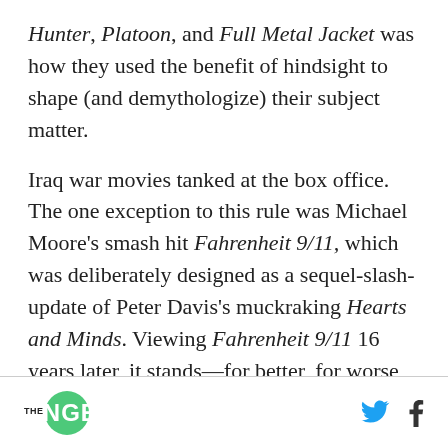Hunter, Platoon, and Full Metal Jacket was how they used the benefit of hindsight to shape (and demythologize) their subject matter.
Iraq war movies tanked at the box office. The one exception to this rule was Michael Moore's smash hit Fahrenheit 9/11, which was deliberately designed as a sequel-slash-update of Peter Davis's muckraking Hearts and Minds. Viewing Fahrenheit 9/11 16 years later, it stands—for better, for worse, and for posterity—as the most overtly weaponized American movie of the Bush era,
THE RINGER